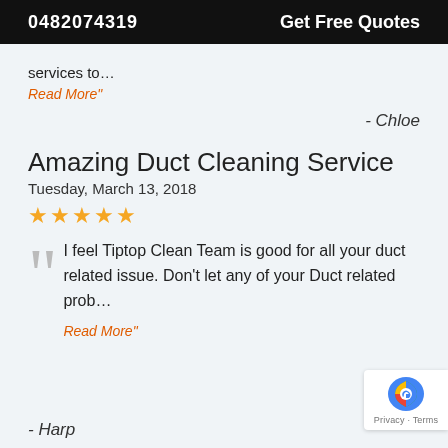0482074319   Get Free Quotes
services to…
Read More"
- Chloe
Amazing Duct Cleaning Service
Tuesday, March 13, 2018
★★★★★
I feel Tiptop Clean Team is good for all your duct related issue. Don't let any of your Duct related prob…
Read More"
- Harp